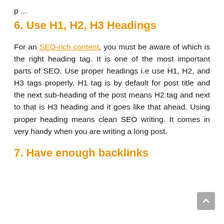p ...
6. Use H1, H2, H3 Headings
For an SEO-rich content, you must be aware of which is the right heading tag. It is one of the most important parts of SEO. Use proper headings i.e use H1, H2, and H3 tags properly. H1 tag is by default for post title and the next sub-heading of the post means H2 tag and next to that is H3 heading and it goes like that ahead. Using proper heading means clean SEO writing. It comes in very handy when you are writing a long post.
7. Have enough backlinks